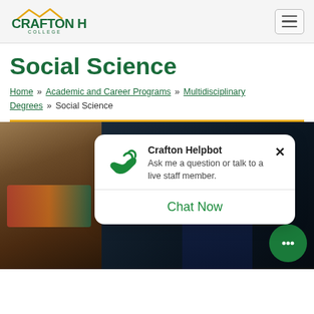Crafton Hills College
Social Science
Home » Academic and Career Programs » Multidisciplinary Degrees » Social Science
[Figure (screenshot): Photo of a woman with braids and glasses wearing a colorful scarf, next to a man in a suit. Overlay shows Crafton Helpbot chat widget.]
Instructor Student The...